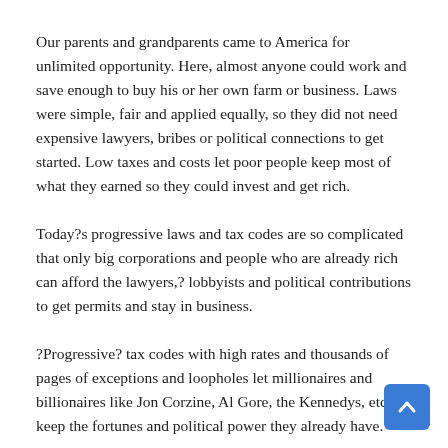Our parents and grandparents came to America for unlimited opportunity. Here, almost anyone could work and save enough to buy his or her own farm or business. Laws were simple, fair and applied equally, so they did not need expensive lawyers, bribes or political connections to get started. Low taxes and costs let poor people keep most of what they earned so they could invest and get rich.
Today?s progressive laws and tax codes are so complicated that only big corporations and people who are already rich can afford the lawyers,? lobbyists and political contributions to get permits and stay in business.
?Progressive? tax codes with high rates and thousands of pages of exceptions and loopholes let millionaires and billionaires like Jon Corzine, Al Gore, the Kennedys, etc., keep the fortunes and political power they already have.
[Figure (other): Blue rounded scroll-to-top button with white upward chevron arrow, positioned in the bottom-right corner.]